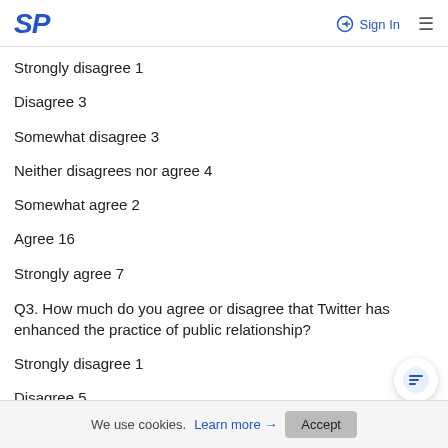SP  Sign In
Strongly disagree 1
Disagree 3
Somewhat disagree 3
Neither disagrees nor agree 4
Somewhat agree 2
Agree 16
Strongly agree 7
Q3. How much do you agree or disagree that Twitter has enhanced the practice of public relationship?
Strongly disagree 1
Disagree 5